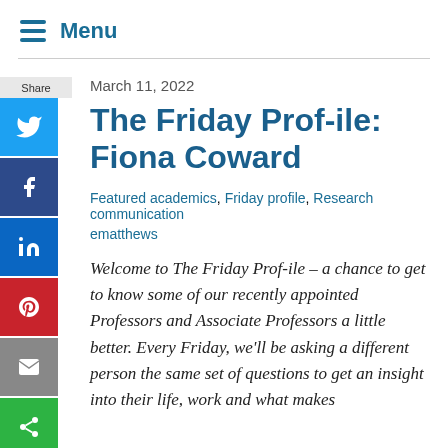Menu
March 11, 2022
The Friday Prof-ile: Fiona Coward
Featured academics, Friday profile, Research communication
ematthews
Welcome to The Friday Prof-ile – a chance to get to know some of our recently appointed Professors and Associate Professors a little better. Every Friday, we'll be asking a different person the same set of questions to get an insight into their life, work and what makes